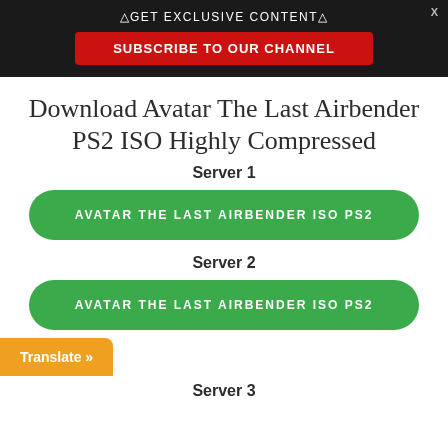△GET EXCLUSIVE CONTENT△
SUBSCRIBE TO OUR CHANNEL
Download Avatar The Last Airbender PS2 ISO Highly Compressed
Server 1
AVATAR THE LAST AIRBENDER ISO PS2
Server 2
AVATAR THE LAST AIRBENDER ISO PS2
Translate »
Server 3